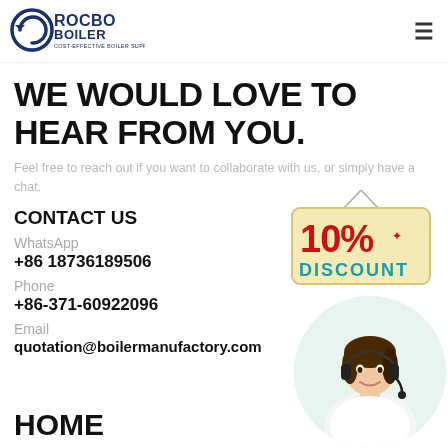[Figure (logo): Rocbo Boiler logo with circular arrow graphic and text 'ROCBO BOILER / COST-EFFECTIVE BOILER SUPPLIER']
WE WOULD LOVE TO HEAR FROM YOU.
Feel free to reach out if you want to collaborate with us, or simply have a chat.
CONTACT US
[Figure (illustration): 10% DISCOUNT sign — a hanging sign with '10%' in red and 'DISCOUNT' in teal/blue on a beige background]
WhatsApp
+86 18736189506
Phone
+86-371-60922096
[Figure (photo): Customer service agent (woman with headset, smiling) in a circular crop]
Email
quotation@boilermanufactory.com
HOME